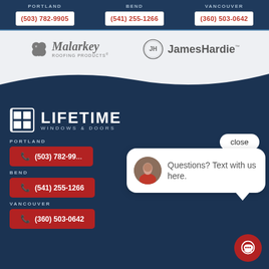PORTLAND (503) 782-9905 | BEND (541) 255-1266 | VANCOUVER (360) 503-0642
[Figure (logo): Malarkey Roofing Products logo - clover icon with stylized text]
[Figure (logo): JamesHardie logo - circular JH monogram with company name]
[Figure (logo): Lifetime Windows & Doors logo - window grid icon with company name in white]
PORTLAND
(503) 782-99...
BEND
(541) 255-1266
VANCOUVER
(360) 503-0642
Questions? Text with us here.
close